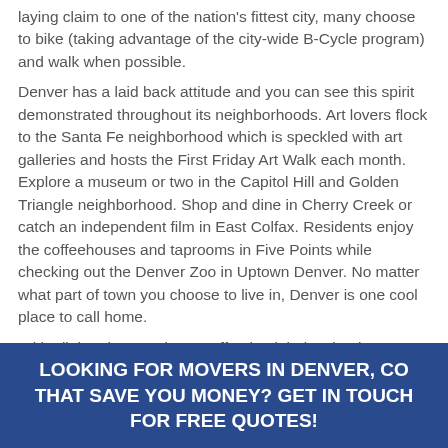laying claim to one of the nation's fittest city, many choose to bike (taking advantage of the city-wide B-Cycle program) and walk when possible.
Denver has a laid back attitude and you can see this spirit demonstrated throughout its neighborhoods. Art lovers flock to the Santa Fe neighborhood which is speckled with art galleries and hosts the First Friday Art Walk each month. Explore a museum or two in the Capitol Hill and Golden Triangle neighborhood. Shop and dine in Cherry Creek or catch an independent film in East Colfax. Residents enjoy the coffeehouses and taprooms in Five Points while checking out the Denver Zoo in Uptown Denver. No matter what part of town you choose to live in, Denver is one cool place to call home.
With all that the area has to offer, it might just be time to make the big move to Denver or just a move across town. From packing to moving the heavy stuff, movers can make your move to Denver, CO a breeze.
LOOKING FOR MOVERS IN DENVER, CO THAT SAVE YOU MONEY? GET IN TOUCH FOR FREE QUOTES!